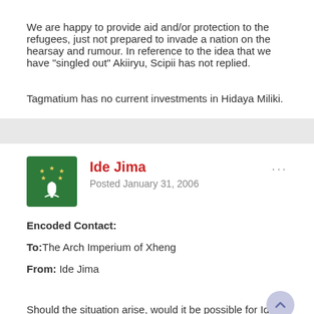We are happy to provide aid and/or protection to the refugees, just not prepared to invade a nation on the hearsay and rumour. In reference to the idea that we have "singled out" Akiiryu, Scipii has not replied.
Tagmatium has no current investments in Hidaya Miliki.
Ide Jima
Posted January 31, 2006
Encoded Contact:
To: The Arch Imperium of Xheng
From: Ide Jima
Should the situation arise, would it be possible for Ide Jiman army units